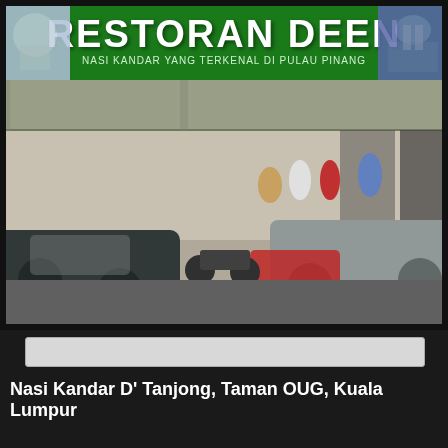[Figure (photo): Street-level photo of Restoran Deen restaurant in Penang, Malaysia. A large green sign reads 'RESTORAN DEEN' with subtitle 'NASI KANDAR YANG TERKENAL DI PULAU PINANG'. Cars and motorcycles are parked on the street in front. People are visible near the entrance.]
Nasi Kandar D' Tanjong, Taman OUG, Kuala Lumpur
[Figure (screenshot): AmateurMatch advertisement bar with text 'GET LAID TONIGHT!!!' and three small thumbnail photos below.]